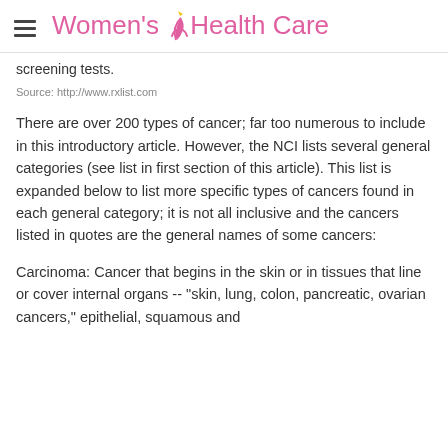Women's Health Care
screening tests.
Source: http://www.rxlist.com
There are over 200 types of cancer; far too numerous to include in this introductory article. However, the NCI lists several general categories (see list in first section of this article). This list is expanded below to list more specific types of cancers found in each general category; it is not all inclusive and the cancers listed in quotes are the general names of some cancers:
Carcinoma: Cancer that begins in the skin or in tissues that line or cover internal organs -- "skin, lung, colon, pancreatic, ovarian cancers," epithelial, squamous and